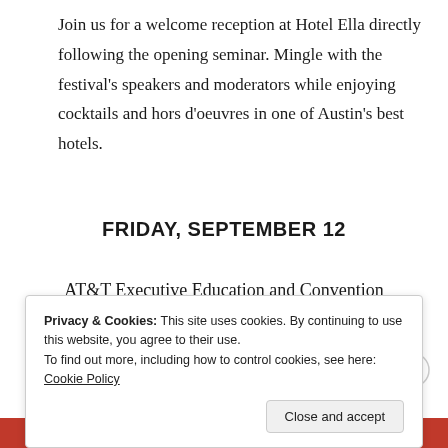Join us for a welcome reception at Hotel Ella directly following the opening seminar. Mingle with the festival's speakers and moderators while enjoying cocktails and hors d'oeuvres in one of Austin's best hotels.
FRIDAY, SEPTEMBER 12
AT&T Executive Education and Convention
Privacy & Cookies: This site uses cookies. By continuing to use this website, you agree to their use.
To find out more, including how to control cookies, see here: Cookie Policy